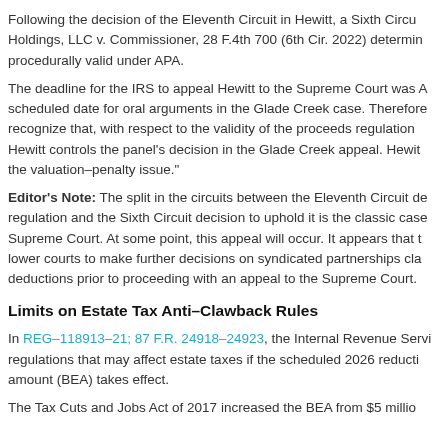Following the decision of the Eleventh Circuit in Hewitt, a Sixth Circuit Holdings, LLC v. Commissioner, 28 F.4th 700 (6th Cir. 2022) determined procedurally valid under APA.
The deadline for the IRS to appeal Hewitt to the Supreme Court was A scheduled date for oral arguments in the Glade Creek case. Therefore, recognize that, with respect to the validity of the proceeds regulation Hewitt controls the panel's decision in the Glade Creek appeal. Hewitt the valuation–penalty issue."
Editor's Note: The split in the circuits between the Eleventh Circuit decision and the Sixth Circuit decision to uphold it is the classic case Supreme Court. At some point, this appeal will occur. It appears that lower courts to make further decisions on syndicated partnerships claims deductions prior to proceeding with an appeal to the Supreme Court.
Limits on Estate Tax Anti–Clawback Rules
In REG–118913–21; 87 F.R. 24918–24923, the Internal Revenue Service regulations that may affect estate taxes if the scheduled 2026 reduction amount (BEA) takes effect.
The Tax Cuts and Jobs Act of 2017 increased the BEA from $5 million